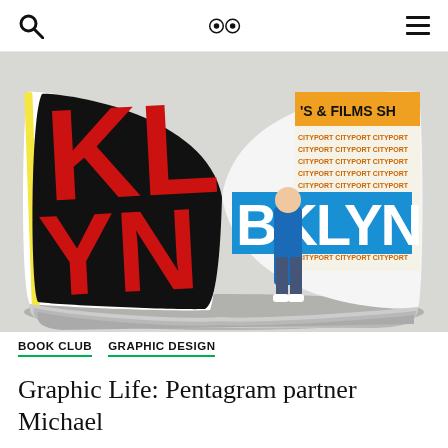Search | Eyes on Design Logo | Menu
[Figure (photo): Open book spread showing large bold typographic design with 'BKLYN' text in red, black and blue, with a person standing in front of graphic signage. The left page shows black background with large red letters, and the right page shows blue and white 'BKLYN' lettering with repeating orange text pattern.]
BOOK CLUB   GRAPHIC DESIGN
Graphic Life: Pentagram partner Michael